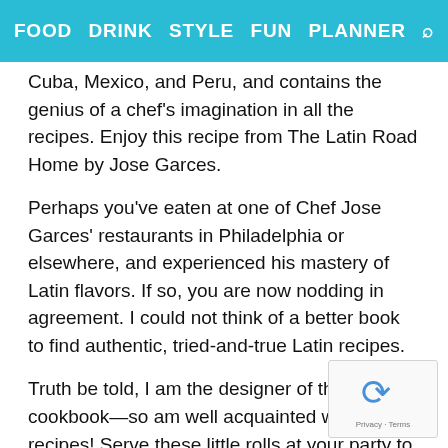FOOD   DRINK   STYLE   FUN   PLANNER   🔍
Cuba, Mexico, and Peru, and contains the genius of a chef's imagination in all the recipes. Enjoy this recipe from The Latin Road Home by Jose Garces.
Perhaps you've eaten at one of Chef Jose Garces' restaurants in Philadelphia or elsewhere, and experienced his mastery of Latin flavors. If so, you are now nodding in agreement. I could not think of a better book to find authentic, tried-and-true Latin recipes.
Truth be told, I am the designer of this cookbook—so am well acquainted with the recipes! Serve these little rolls at your party to great applause.
■